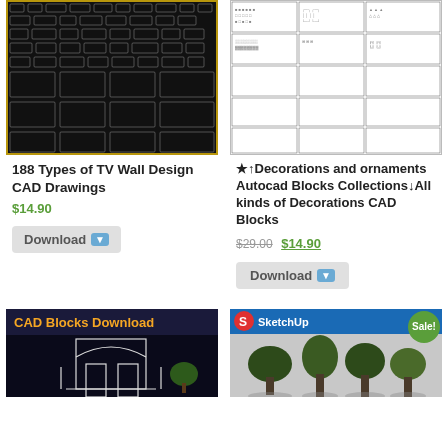[Figure (screenshot): CAD drawing sheet with multiple TV wall design layouts on black background]
[Figure (screenshot): Grid of decorations and ornaments CAD blocks on white background]
188 Types of TV Wall Design CAD Drawings
$14.90
Download
★↑Decorations and ornaments Autocad Blocks Collections↓All kinds of Decorations CAD Blocks
$29.00 $14.90
Download
[Figure (screenshot): CAD Blocks Download - black background with architectural gateway and plant]
[Figure (screenshot): SketchUp Tensioned Membrane Structure 3D with Sale badge, showing tree-like structures]